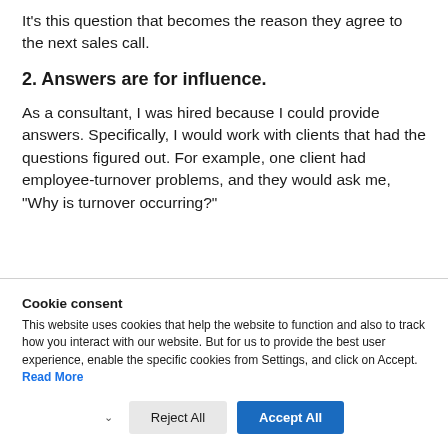It’s this question that becomes the reason they agree to the next sales call.
2. Answers are for influence.
As a consultant, I was hired because I could provide answers. Specifically, I would work with clients that had the questions figured out. For example, one client had employee-turnover problems, and they would ask me, “Why is turnover occurring?”
Cookie consent
This website uses cookies that help the website to function and also to track how you interact with our website. But for us to provide the best user experience, enable the specific cookies from Settings, and click on Accept. Read More
Reject All  Accept All